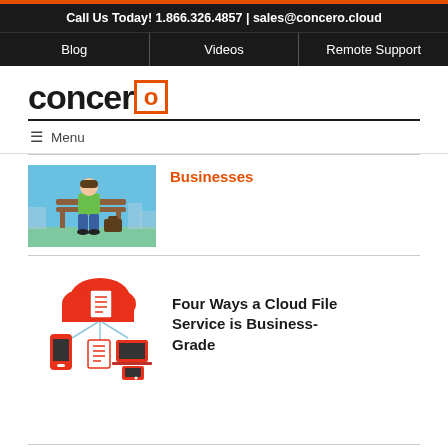Call Us Today! 1.866.326.4857 | sales@concero.cloud
Blog | Videos | Remote Support
[Figure (logo): Concero logo with orange square 'O' at end]
≡ Menu
[Figure (illustration): Person sitting on bench with briefcase, outdoor scene with blue background]
Businesses
[Figure (illustration): Cloud file service diagram with red cloud, documents, laptop, smartphone, and tablet connected with arrows]
Four Ways a Cloud File Service is Business-Grade